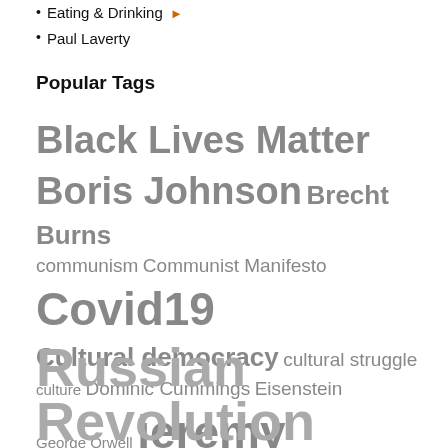Eating & Drinking
Paul Laverty
Popular Tags
[Figure (infographic): Tag cloud showing popular tags in varying font sizes. Tags include: Black Lives Matter, Boris Johnson, Brecht Burns, communism, Communist Manifesto, Covid19, Cultural democracy, cultural struggle, culture, Dominic Cummings, Eisenstein, George Orwell, jeremy corbyn, John Berger, Karl Marx, Marx, marxism, music, Netflix, Picasso, Proletkult, refugees, Robert Burns, Russian Revolution.]